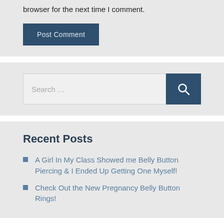browser for the next time I comment.
Post Comment
Search ...
Recent Posts
A Girl In My Class Showed me Belly Button Piercing & I Ended Up Getting One Myself!
Check Out the New Pregnancy Belly Button Rings!